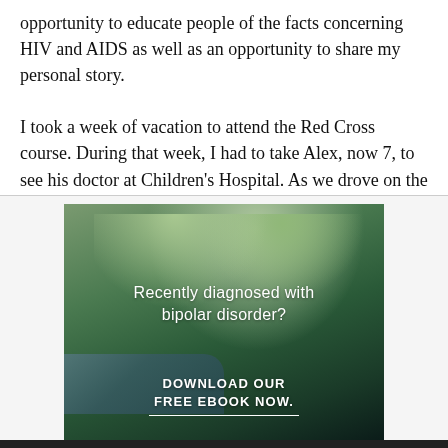opportunity to educate people of the facts concerning HIV and AIDS as well as an opportunity to share my personal story.

I took a week of vacation to attend the Red Cross course. During that week, I had to take Alex, now 7, to see his doctor at Children's Hospital. As we drove on the way to
[Figure (photo): Advertisement image showing a forest/nature scene with a stream and trees. Text overlay reads 'Recently diagnosed with bipolar disorder?' with a call-to-action 'DOWNLOAD OUR FREE EBOOK NOW.' and an underline beneath it.]
advertisement